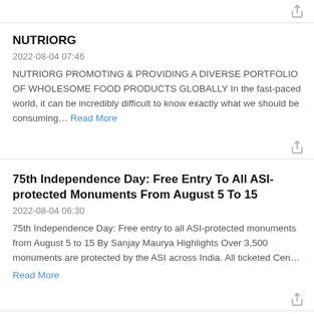NUTRIORG
2022-08-04 07:46
NUTRIORG PROMOTING & PROVIDING A DIVERSE PORTFOLIO OF WHOLESOME FOOD PRODUCTS GLOBALLY In the fast-paced world, it can be incredibly difficult to know exactly what we should be consuming… Read More
75th Independence Day: Free Entry To All ASI-protected Monuments From August 5 To 15
2022-08-04 06:30
75th Independence Day: Free entry to all ASI-protected monuments from August 5 to 15 By Sanjay Maurya Highlights Over 3,500 monuments are protected by the ASI across India. All ticketed Cen… Read More
Important Life Lessons That We Learn Too Late